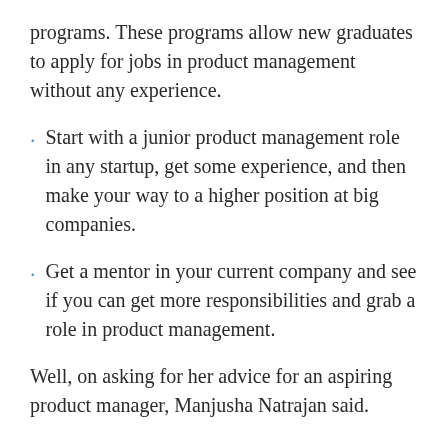programs. These programs allow new graduates to apply for jobs in product management without any experience.
Start with a junior product management role in any startup, get some experience, and then make your way to a higher position at big companies.
Get a mentor in your current company and see if you can get more responsibilities and grab a role in product management.
Well, on asking for her advice for an aspiring product manager, Manjusha Natrajan said.